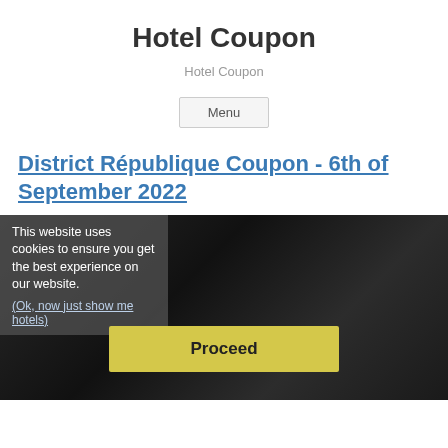Hotel Coupon
Hotel Coupon
Menu
District République Coupon - 6th of September 2022
[Figure (photo): Dark hotel room image with a cookie consent overlay on the left reading 'This website uses cookies to ensure you get the best experience on our website. (Ok, now just show me hotels)' and a yellow 'Proceed' button in the center.]